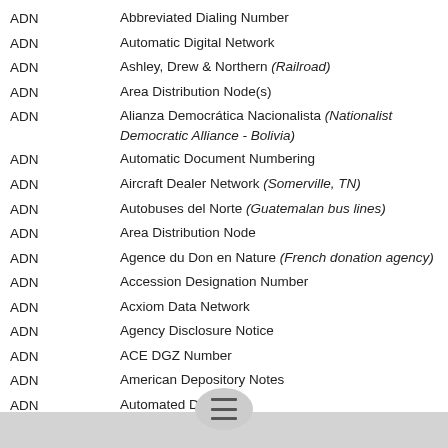ADN   Abbreviated Dialing Number
ADN   Automatic Digital Network
ADN   Ashley, Drew & Northern (Railroad)
ADN   Area Distribution Node(s)
ADN   Alianza Democrática Nacionalista (Nationalist Democratic Alliance - Bolivia)
ADN   Automatic Document Numbering
ADN   Aircraft Dealer Network (Somerville, TN)
ADN   Autobuses del Norte (Guatemalan bus lines)
ADN   Area Distribution Node
ADN   Agence du Don en Nature (French donation agency)
ADN   Accession Designation Number
ADN   Acxiom Data Network
ADN   Agency Disclosure Notice
ADN   ACE DGZ Number
ADN   American Depository Notes
ADN   Automated Data Net...